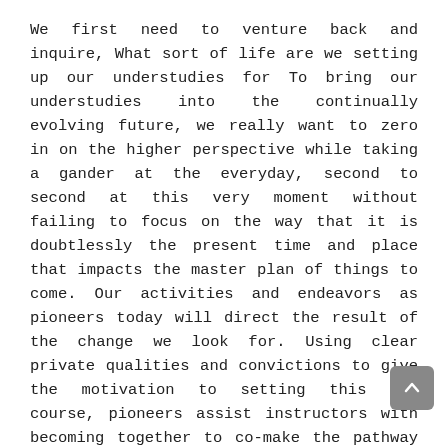We first need to venture back and inquire, What sort of life are we setting up our understudies for To bring our understudies into the continually evolving future, we really want to zero in on the higher perspective while taking a gander at the everyday, second to second at this very moment without failing to focus on the way that it is doubtlessly the present time and place that impacts the master plan of things to come. Our activities and endeavors as pioneers today will direct the result of the change we look for. Using clear private qualities and convictions to give the motivation to setting this new course, pioneers assist instructors with becoming together to co-make the pathway to the new future.
To support the progress of any individual venture from here on out, we want fearle pioneers ready to push limits and hindrance to